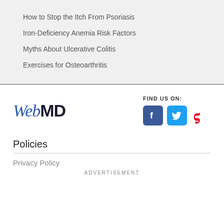How to Stop the Itch From Psoriasis
Iron-Deficiency Anemia Risk Factors
Myths About Ulcerative Colitis
Exercises for Osteoarthritis
[Figure (logo): WebMD logo in blue italic and bold black text]
FIND US ON:
[Figure (infographic): Social media icons: Facebook (blue), Twitter (light blue), Pinterest (red)]
Policies
Privacy Policy
ADVERTISEMENT